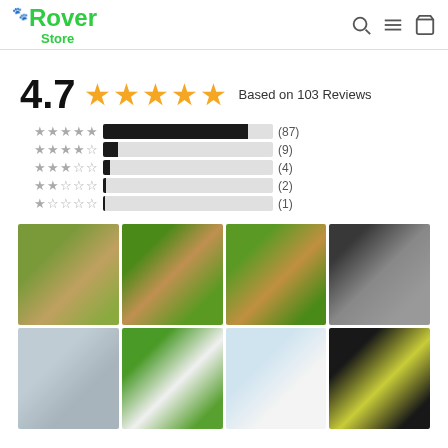Rover Store
4.7 ★★★★★ Based on 103 Reviews
[Figure (bar-chart): Rating distribution]
[Figure (photo): Grid of dog photos showing dogs outdoors on grass and other settings]